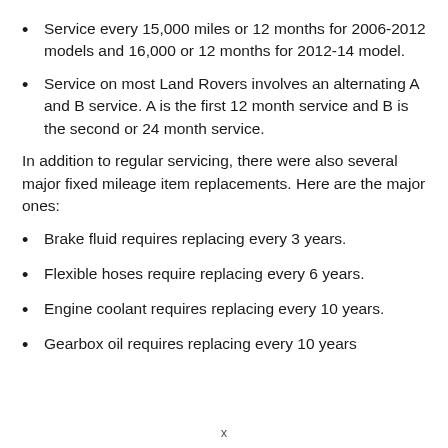Service every 15,000 miles or 12 months for 2006-2012 models and 16,000 or 12 months for 2012-14 model.
Service on most Land Rovers involves an alternating A and B service. A is the first 12 month service and B is the second or 24 month service.
In addition to regular servicing, there were also several major fixed mileage item replacements. Here are the major ones:
Brake fluid requires replacing every 3 years.
Flexible hoses require replacing every 6 years.
Engine coolant requires replacing every 10 years.
Gearbox oil requires replacing every 10 years
x